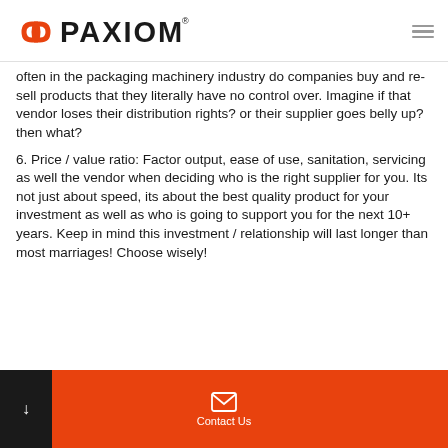PAXIOM
often in the packaging machinery industry do companies buy and re-sell products that they literally have no control over. Imagine if that vendor loses their distribution rights? or their supplier goes belly up? then what?
6. Price / value ratio: Factor output, ease of use, sanitation, servicing as well the vendor when deciding who is the right supplier for you. Its not just about speed, its about the best quality product for your investment as well as who is going to support you for the next 10+ years. Keep in mind this investment / relationship will last longer than most marriages! Choose wisely!
Contact Us